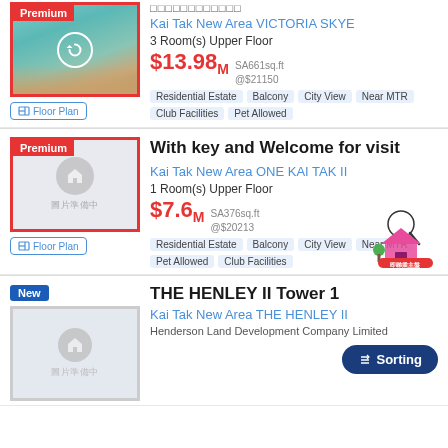□□□□□□□□□□□□
Kai Tak New Area VICTORIA SKYE
3 Room(s) Upper Floor
$13.98M SA661sq.ft @$21150
Residential Estate, Balcony, City View, Near MTR, Club Facilities, Pet Allowed
With key and Welcome for visit
Kai Tak New Area ONE KAI TAK II
1 Room(s) Upper Floor
$7.6M SA376sq.ft @$20213
Residential Estate, Balcony, City View, Near MTR, Pet Allowed, Club Facilities
THE HENLEY II Tower 1
Kai Tak New Area THE HENLEY II
Henderson Land Development Company Limited